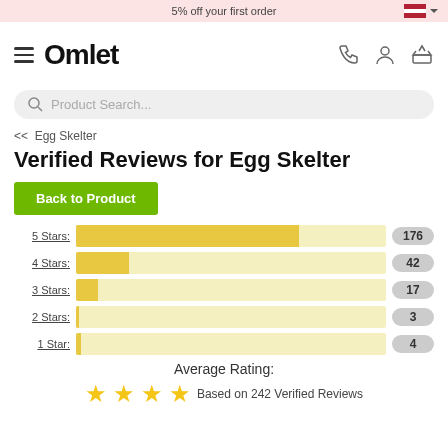5% off your first order
[Figure (logo): Omlet logo and navigation bar with hamburger menu, phone icon, person icon, basket icon]
Product Search...
<< Egg Skelter
Verified Reviews for Egg Skelter
Back to Product
[Figure (bar-chart): Star Ratings Distribution]
Average Rating:
Based on 242 Verified Reviews